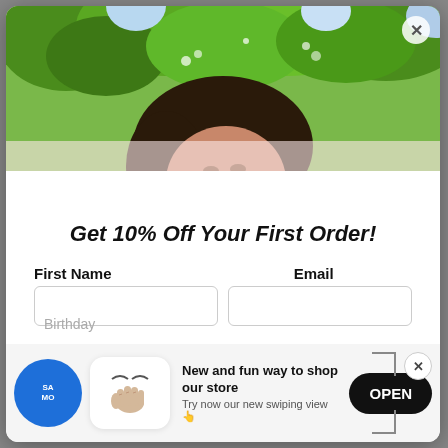[Figure (photo): Hero banner photo of a woman with dark hair partially obscured by green leafy trees/foliage in an outdoor setting]
Get 10% Off Your First Order!
First Name
Email
[Figure (infographic): Swipe/shop banner notification with blue circle icon showing phone graphic, white rounded box with hand swipe icon, text 'New and fun way to shop our store / Try now our new swiping view', and black OPEN button]
Birthday